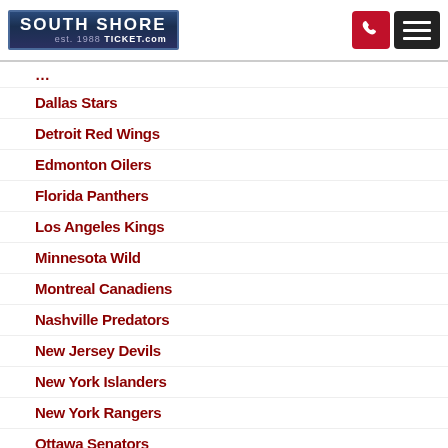South Shore Ticket.com est. 1988
Dallas Stars
Detroit Red Wings
Edmonton Oilers
Florida Panthers
Los Angeles Kings
Minnesota Wild
Montreal Canadiens
Nashville Predators
New Jersey Devils
New York Islanders
New York Rangers
Ottawa Senators
Philadelphia Flyers
Pittsburgh Penguins